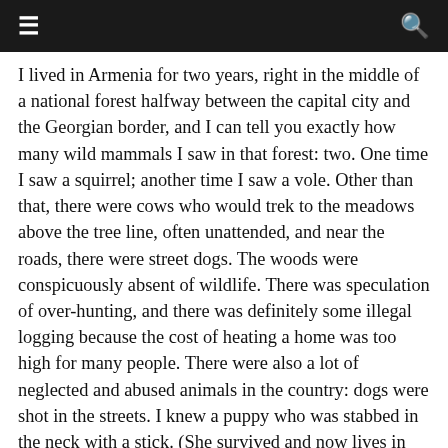≡  🔍
I lived in Armenia for two years, right in the middle of a national forest halfway between the capital city and the Georgian border, and I can tell you exactly how many wild mammals I saw in that forest: two. One time I saw a squirrel; another time I saw a vole. Other than that, there were cows who would trek to the meadows above the tree line, often unattended, and near the roads, there were street dogs. The woods were conspicuously absent of wildlife. There was speculation of over-hunting, and there was definitely some illegal logging because the cost of heating a home was too high for many people. There were also a lot of neglected and abused animals in the country: dogs were shot in the streets. I knew a puppy who was stabbed in the neck with a stick. (She survived and now lives in Pennsylvania.) Then, after Nikol Pashinyan became the new prime minister, there was a push for the enforcement of animal welfare laws. I saw a story about a rescued bear that had been kept caged behind a restaurant and was taken to a sanctuary. I see similar stories from Serbia semi-regularly as well. But then I remembered the Zanesville zoo story and the subsequent Esquire article. There